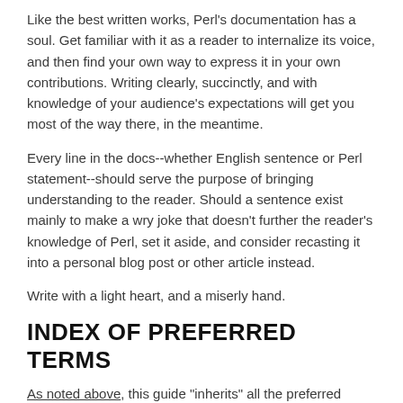Like the best written works, Perl's documentation has a soul. Get familiar with it as a reader to internalize its voice, and then find your own way to express it in your own contributions. Writing clearly, succinctly, and with knowledge of your audience's expectations will get you most of the way there, in the meantime.
Every line in the docs--whether English sentence or Perl statement--should serve the purpose of bringing understanding to the reader. Should a sentence exist mainly to make a wry joke that doesn't further the reader's knowledge of Perl, set it aside, and consider recasting it into a personal blog post or other article instead.
Write with a light heart, and a miserly hand.
INDEX OF PREFERRED TERMS
As noted above, this guide "inherits" all the preferred terms listed in the Chicago Manual of Style, 17th edition, and adds the following terms of particular importance to Perl